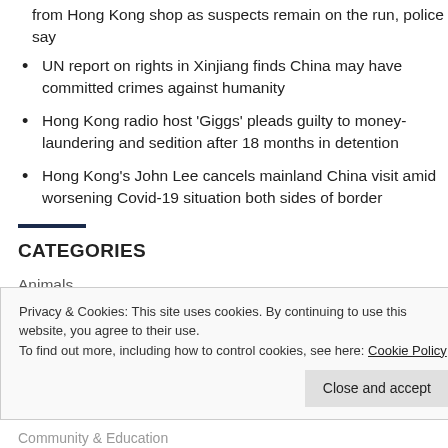from Hong Kong shop as suspects remain on the run, police say
UN report on rights in Xinjiang finds China may have committed crimes against humanity
Hong Kong radio host 'Giggs' pleads guilty to money-laundering and sedition after 18 months in detention
Hong Kong's John Lee cancels mainland China visit amid worsening Covid-19 situation both sides of border
CATEGORIES
Animals
Privacy & Cookies: This site uses cookies. By continuing to use this website, you agree to their use. To find out more, including how to control cookies, see here: Cookie Policy
Community & Education